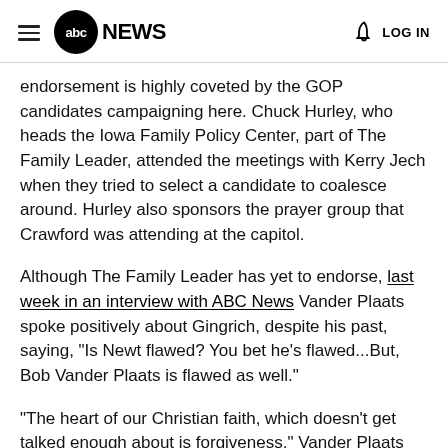abc NEWS | LOG IN
endorsement is highly coveted by the GOP candidates campaigning here. Chuck Hurley, who heads the Iowa Family Policy Center, part of The Family Leader, attended the meetings with Kerry Jech when they tried to select a candidate to coalesce around. Hurley also sponsors the prayer group that Crawford was attending at the capitol.
Although The Family Leader has yet to endorse, last week in an interview with ABC News Vander Plaats spoke positively about Gingrich, despite his past, saying, "Is Newt flawed? You bet he's flawed...But, Bob Vander Plaats is flawed as well."
"The heart of our Christian faith, which doesn't get talked enough about is forgiveness," Vander Plaats said. "When there's life change, the scripture says the heavens rejoice. Well, if scripture says that, then we probably should rejoice as well."